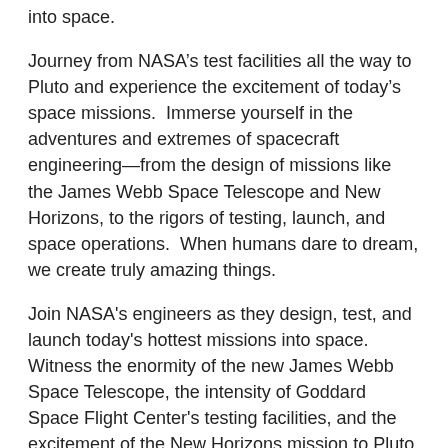into space.
Journey from NASA’s test facilities all the way to Pluto and experience the excitement of today’s space missions.  Immerse yourself in the adventures and extremes of spacecraft engineering—from the design of missions like the James Webb Space Telescope and New Horizons, to the rigors of testing, launch, and space operations.  When humans dare to dream, we create truly amazing things.
Join NASA's engineers as they design, test, and launch today's hottest missions into space. Witness the enormity of the new James Webb Space Telescope, the intensity of Goddard Space Flight Center's testing facilities, and the excitement of the New Horizons mission to Pluto. From blueprint to blastoff, experience how unmanned space flight is pushing the frontiers of human exploration to the very edges of the universe!